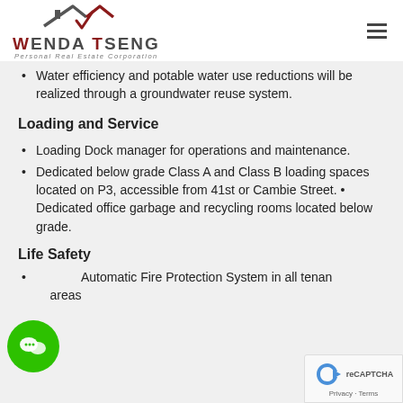WENDA TSENG Personal Real Estate Corporation
Water efficiency and potable water use reductions will be realized through a groundwater reuse system.
Loading and Service
Loading Dock manager for operations and maintenance.
Dedicated below grade Class A and Class B loading spaces located on P3, accessible from 41st or Cambie Street. • Dedicated office garbage and recycling rooms located below grade.
Life Safety
Automatic Fire Protection System in all tenant areas